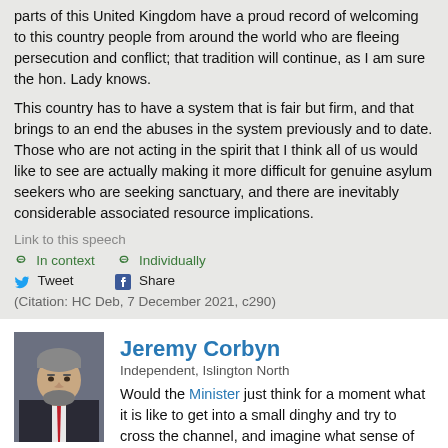parts of this United Kingdom have a proud record of welcoming to this country people from around the world who are fleeing persecution and conflict; that tradition will continue, as I am sure the hon. Lady knows.
This country has to have a system that is fair but firm, and that brings to an end the abuses in the system previously and to date. Those who are not acting in the spirit that I think all of us would like to see are actually making it more difficult for genuine asylum seekers who are seeking sanctuary, and there are inevitably considerable associated resource implications.
Link to this speech
🔗 In context  🔗 Individually
Tweet  Share
(Citation: HC Deb, 7 December 2021, c290)
Jeremy Corbyn
Independent, Islington North
Would the Minister just think for a moment what it is like to get into a small dinghy and try to cross the channel, and imagine what sense of desperation people must have to risk